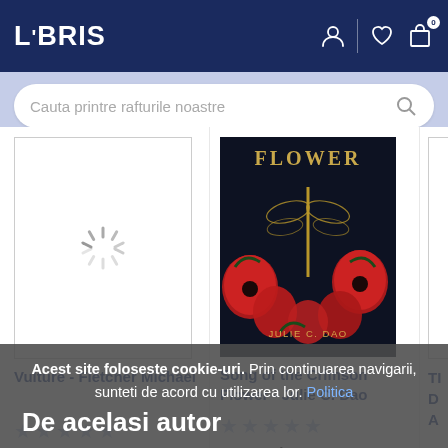[Figure (screenshot): LIBRIS bookstore website header with navy background, logo, user/wishlist/cart icons]
Cauta printre rafturile noastre
[Figure (photo): Loading spinner placeholder for book cover]
[Figure (photo): Book cover: Song of the Crimson Flower by Julie C. Dao, dark background with red poppies and dragonfly]
Vulture - Fletcher Michael
Song of the Crimson Flower - Julie C. Dao
TI D A
★ ★ ★ ★ ★
★ ★ ★ ★ ★
90.47 Lei 100.52 Lei
91.67 Lei 101.86 Lei
Acest site foloseste cookie-uri. Prin continuarea navigarii, sunteti de acord cu utilizarea lor. Politica
De acelasi autor